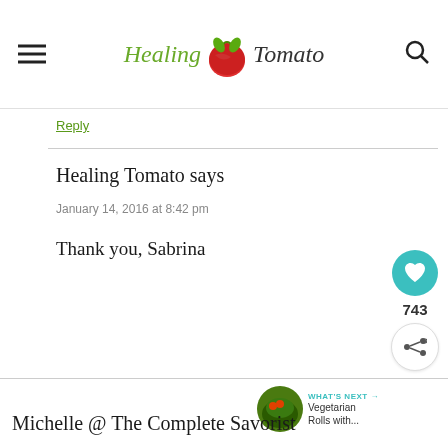Healing Tomato
Reply
Healing Tomato says
January 14, 2016 at 8:42 pm
Thank you, Sabrina
WHAT'S NEXT → Vegetarian Rolls with...
Michelle @ The Complete Savorist